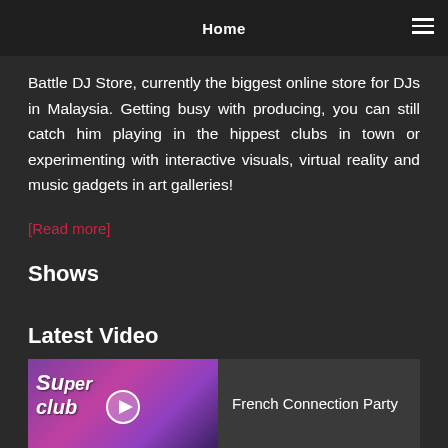Home
Battle DJ Store, currently the biggest online store for DJs in Malaysia. Getting busy with producing, you can still catch him playing in the hippest clubs in town or experimenting with interactive visuals, virtual reality and music gadgets in art galleries!
[Read more]
Shows
Latest Video
[Figure (screenshot): Video thumbnail showing Superclub text with a play button overlay, colorful purple/pink background]
French Connection Party